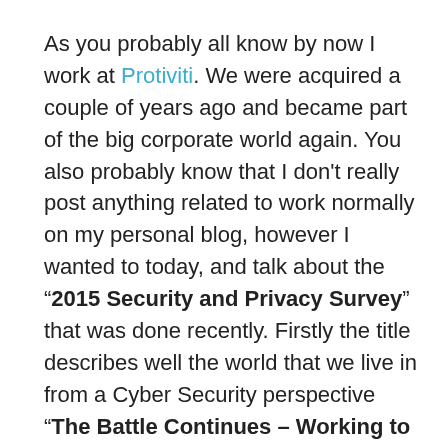As you probably all know by now I work at Protiviti. We were acquired a couple of years ago and became part of the big corporate world again. You also probably know that I don't really post anything related to work normally on my personal blog, however I wanted to today, and talk about the "2015 Security and Privacy Survey" that was done recently. Firstly the title describes well the world that we live in from a Cyber Security perspective "The Battle Continues – Working to Bridge the Data Security Chasm".
You can get your own copy of the results using the link below:
http://www.protiviti.com/...